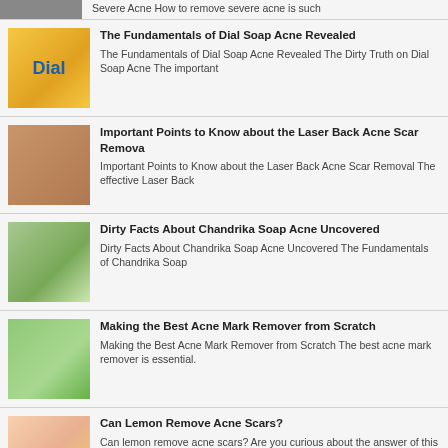Severe Acne How to remove severe acne is such
The Fundamentals of Dial Soap Acne Revealed — The Fundamentals of Dial Soap Acne Revealed The Dirty Truth on Dial Soap Acne The important
Important Points to Know about the Laser Back Acne Scar Remova — Important Points to Know about the Laser Back Acne Scar Removal The effective Laser Back
Dirty Facts About Chandrika Soap Acne Uncovered — Dirty Facts About Chandrika Soap Acne Uncovered The Fundamentals of Chandrika Soap
Making the Best Acne Mark Remover from Scratch — Making the Best Acne Mark Remover from Scratch The best acne mark remover is essential.
Can Lemon Remove Acne Scars? — Can lemon remove acne scars? Are you curious about the answer of this question? If yes you are,
What You Must Know About Removing Acne...